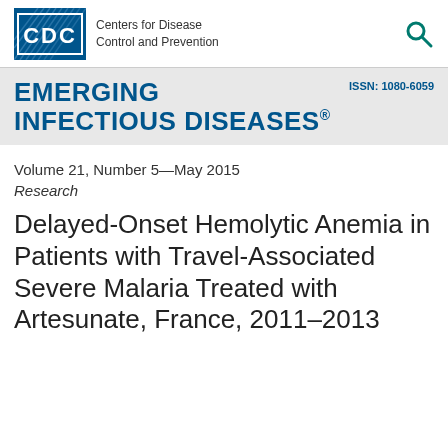[Figure (logo): CDC (Centers for Disease Control and Prevention) logo with blue CDC box and text, plus teal search icon on right]
EMERGING INFECTIOUS DISEASES·  ISSN: 1080-6059
Volume 21, Number 5—May 2015
Research
Delayed-Onset Hemolytic Anemia in Patients with Travel-Associated Severe Malaria Treated with Artesunate, France, 2011–2013